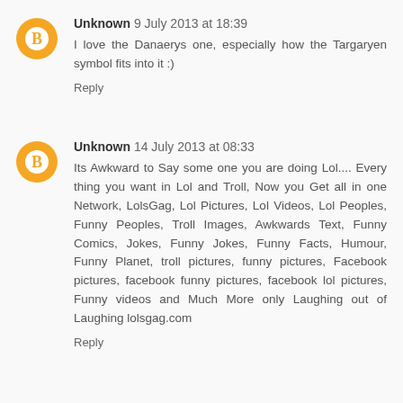Unknown 9 July 2013 at 18:39
I love the Danaerys one, especially how the Targaryen symbol fits into it :)
Reply
Unknown 14 July 2013 at 08:33
Its Awkward to Say some one you are doing Lol.... Every thing you want in Lol and Troll, Now you Get all in one Network, LolsGag, Lol Pictures, Lol Videos, Lol Peoples, Funny Peoples, Troll Images, Awkwards Text, Funny Comics, Jokes, Funny Jokes, Funny Facts, Humour, Funny Planet, troll pictures, funny pictures, Facebook pictures, facebook funny pictures, facebook lol pictures, Funny videos and Much More only Laughing out of Laughing lolsgag.com
Reply